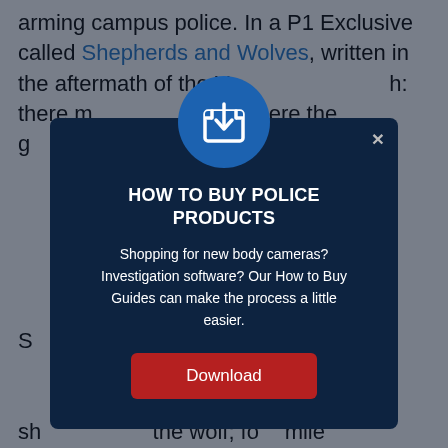arming campus police. In a P1 Exclusive called Shepherds and Wolves, written in the aftermath of the Virginia... there... where the g... d them fr... may be th... ight be st... pe st... ses and so... otectors) h... arms." So... and I, w... terrible tr... will n... ide-by-si... t the sh... the wolf; fo... mile
[Figure (screenshot): Modal popup dialog with dark navy background. Contains a circular blue icon with a download/import symbol at the top. Title reads 'HOW TO BUY POLICE PRODUCTS' in white bold uppercase text. Body text reads 'Shopping for new body cameras? Investigation software? Our How to Buy Guides can make the process a little easier.' A red Download button is at the bottom. An X close button is in the upper right corner of the modal.]